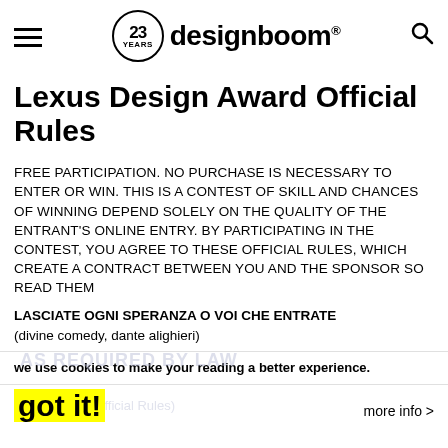designboom® — 23 YEARS
Lexus Design Award Official Rules
FREE PARTICIPATION. NO PURCHASE IS NECESSARY TO ENTER OR WIN. THIS IS A CONTEST OF SKILL AND CHANCES OF WINNING DEPEND SOLELY ON THE QUALITY OF THE ENTRANT'S ONLINE ENTRY. BY PARTICIPATING IN THE CONTEST, YOU AGREE TO THESE OFFICIAL RULES, WHICH CREATE A CONTRACT BETWEEN YOU AND THE SPONSOR SO READ THEM
LASCIATE OGNI SPERANZA O VOI CHE ENTRATE
(divine comedy, dante alighieri)
we use cookies to make your reading a better experience.
got it!
more info >